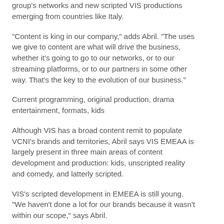group's networks and new scripted VIS productions emerging from countries like Italy.
“Content is king in our company,” adds Abril. “The uses we give to content are what will drive the business, whether it’s going to go to our networks, or to our streaming platforms, or to our partners in some other way. That’s the key to the evolution of our business.”
Current programming, original production, drama entertainment, formats, kids
Although VIS has a broad content remit to populate VCNI’s brands and territories, Abril says VIS EMEAA is largely present in three main areas of content development and production: kids, unscripted reality and comedy, and latterly scripted.
VIS’s scripted development in EMEEA is still young. “We haven’t done a lot for our brands because it wasn’t within our scope,” says Abril.